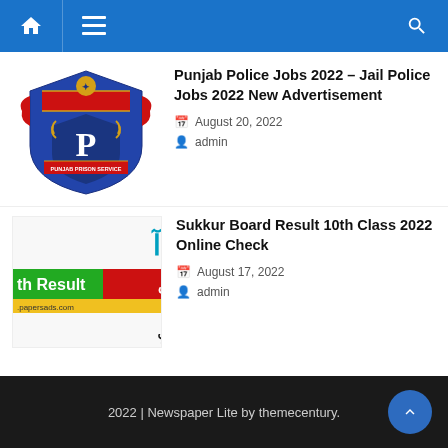Navigation bar with home, menu, and search icons
[Figure (logo): Punjab Prison Service badge/emblem - blue and red shield with golden lion emblem]
Punjab Police Jobs 2022 – Jail Police Jobs 2022 New Advertisement
August 20, 2022
admin
[Figure (photo): Sukkur Board Result 10th Class 2022 advertisement image with Urdu text]
Sukkur Board Result 10th Class 2022 Online Check
August 17, 2022
admin
2022 | Newspaper Lite by themecentury.